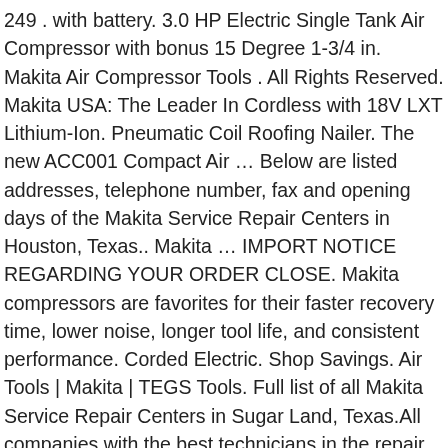249 . with battery. 3.0 HP Electric Single Tank Air Compressor with bonus 15 Degree 1-3/4 in. Makita Air Compressor Tools . All Rights Reserved. Makita USA: The Leader In Cordless with 18V LXT Lithium-Ion. Pneumatic Coil Roofing Nailer. The new ACC001 Compact Air … Below are listed addresses, telephone number, fax and opening days of the Makita Service Repair Centers in Houston, Texas.. Makita … IMPORT NOTICE REGARDING YOUR ORDER CLOSE. Makita compressors are favorites for their faster recovery time, lower noise, longer tool life, and consistent performance. Corded Electric. Shop Savings. Air Tools | Makita | TEGS Tools. Full list of all Makita Service Repair Centers in Sugar Land, Texas.All companies with the best technicians in the repair and servicing of Makita products. Below are listed addresses, telephone number, fax